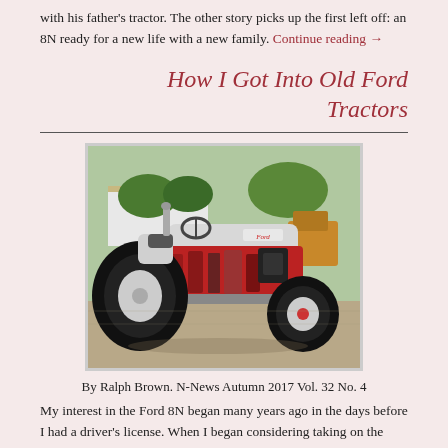with his father's tractor. The other story picks up the first left off: an 8N ready for a new life with a new family. Continue reading →
How I Got Into Old Ford Tractors
[Figure (photo): A restored vintage Ford 8N tractor with red engine and grey body, photographed outdoors on a gravel area with trees and a building in the background.]
By Ralph Brown. N-News Autumn 2017 Vol. 32 No. 4
My interest in the Ford 8N began many years ago in the days before I had a driver's license. When I began considering taking on the